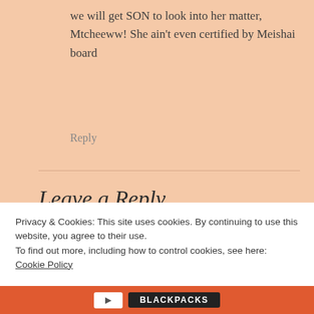we will get SON to look into her matter, Mtcheeww! She ain't even certified by Meishai board
Reply
Leave a Reply
COMMENT *
Privacy & Cookies: This site uses cookies. By continuing to use this website, you agree to their use.
To find out more, including how to control cookies, see here: Cookie Policy
Close and accept